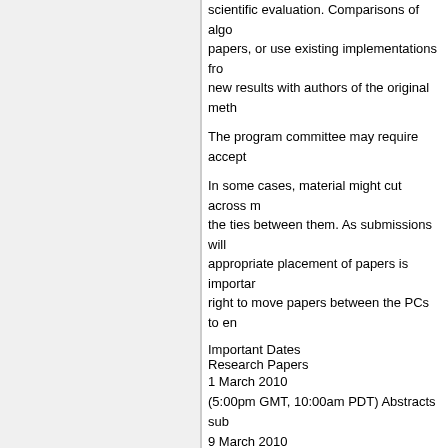scientific evaluation. Comparisons of algo papers, or use existing implementations fro new results with authors of the original meth
The program committee may require accept
In some cases, material might cut across m the ties between them. As submissions will appropriate placement of papers is importar right to move papers between the PCs to en
Important Dates
Research Papers
1 March 2010
(5:00pm GMT, 10:00am PDT) Abstracts sub
9 March 2010
(5:00pm GMT, 10:00am PDT) Paper submis
17 May - 20 May 2010 Author Feedback for
12 June 2010 Notification
11 July 2010 Camera-ready paper due
PhD Workshop Papers
10 April 2010
(5:00pm GMT, 10:00am PDT) Paper submis
12 June 2010 Notification
11 July 2010 Camera-ready paper due
Demonstration Proposals
22 March 2010
(5:00pm GMT, 10:00am PDT) Proposal sub
12 June 2010 Notification
11 July 2010 Camera-ready paper due
Workshop Proposals